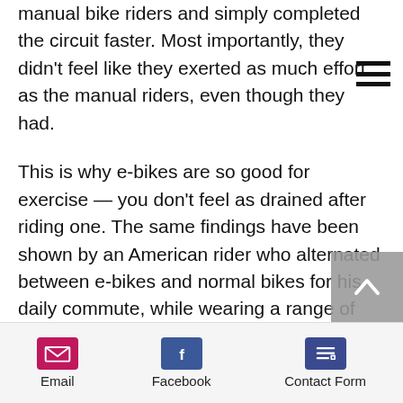manual bike riders and simply completed the circuit faster. Most importantly, they didn't feel like they exerted as much effort as the manual riders, even though they had.

This is why e-bikes are so good for exercise — you don't feel as drained after riding one. The same findings have been shown by an American rider who alternated between e-bikes and normal bikes for his daily commute, while wearing a range of tracking devices. After weeks of testing, he found that his heart rate and energy exertion were the same with both bikes, he just cut his commuting time by 4 hours a week
Email | Facebook | Contact Form